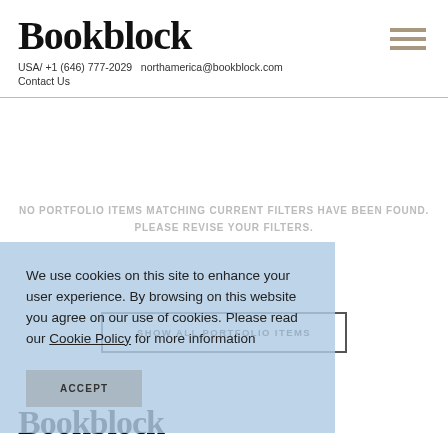Bookblock
USA/ +1 (646) 777-2029   northamerica@bookblock.com
Contact Us
NO PORTFOLIO ITEMS MATCHING CURRENT FILTERS HAVE BEEN FOUND. PLEASE REVISE YOUR FILTERS.
SHOW ALL PORTFOLIO ITEMS
We use cookies on this site to enhance your user experience. By browsing on this website you agree on our use of cookies. Please read our Cookie Policy for more information
ACCEPT
Bookblock